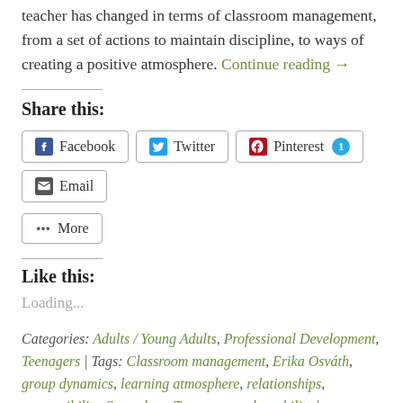teacher has changed in terms of classroom management, from a set of actions to maintain discipline, to ways of creating a positive atmosphere. Continue reading →
Share this:
Facebook | Twitter | Pinterest 1 | Email
More
Like this:
Loading...
Categories: Adults / Young Adults, Professional Development, Teenagers | Tags: Classroom management, Erika Osváth, group dynamics, learning atmosphere, relationships, responsibility, Secondary, Teenagers, vulnerability | Permalink.